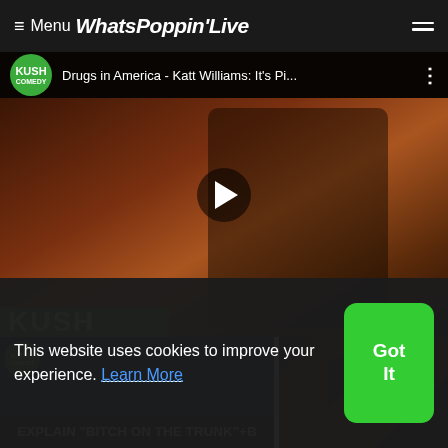Menu WhatsPoppin'Live
[Figure (screenshot): YouTube-style video player showing Kush Comedy channel with video titled 'Drugs in America - Katt Williams: It's Pi...' featuring a comedian in a suit holding a microphone. Large play button overlay in center. Kush green logo bar in lower left.]
[Figure (screenshot): Thumbnail with dark blue background showing Kush Comedy logo and caption text 'Explain BITCH ON THE TRUNK +B' in white bold text]
[Figure (screenshot): Thumbnail showing a comedy performance scene with dark background]
[Figure (screenshot): Thumbnail showing green object against background]
This website uses cookies to improve your experience. Learn More
Got It